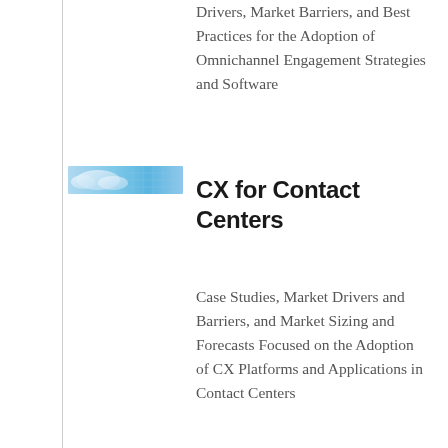Drivers, Market Barriers, and Best Practices for the Adoption of Omnichannel Engagement Strategies and Software
[Figure (photo): Small thumbnail image showing a blue sky with clouds and a grid/mesh overlay pattern]
CX for Contact Centers
Case Studies, Market Drivers and Barriers, and Market Sizing and Forecasts Focused on the Adoption of CX Platforms and Applications in Contact Centers